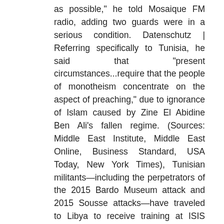as possible," he told Mosaique FM radio, adding two guards were in a serious condition. Datenschutz | Referring specifically to Tunisia, he said that "present circumstances...require that the people of monotheism concentrate on the aspect of preaching," due to ignorance of Islam caused by Zine El Abidine Ben Ali's fallen regime. (Sources: Middle East Institute, Middle East Online, Business Standard, USA Today, New York Times), Tunisian militants—including the perpetrators of the 2015 Bardo Museum attack and 2015 Sousse attacks—have traveled to Libya to receive training at ISIS camps and many have subsequently gone on to fight in Syria. [33]  Benjamin Roger, "Tunisie: Abou Iyadh, au nez et à la barbe des autorités," Jeune Afrique, September 18, 2012. The group, however, had difficulties with funding and equipment, and later analysis has theorized that the group posed somewhat less of a threat to Tunisian security than initial reporting suggested. As noted by Zelin, it is likely that